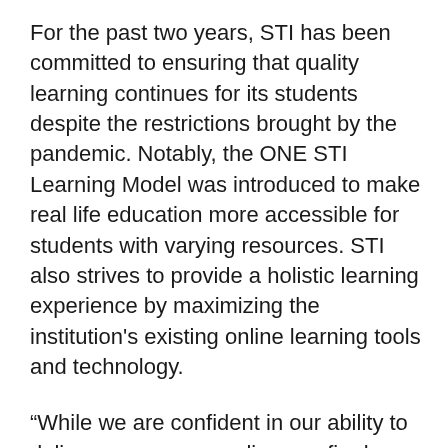For the past two years, STI has been committed to ensuring that quality learning continues for its students despite the restrictions brought by the pandemic. Notably, the ONE STI Learning Model was introduced to make real life education more accessible for students with varying resources. STI also strives to provide a holistic learning experience by maximizing the institution's existing online learning tools and technology.
“While we are confident in our ability to deliver our courses online, we firmly believe that students will greatly benefit from the implementation of face-to-face classes and an